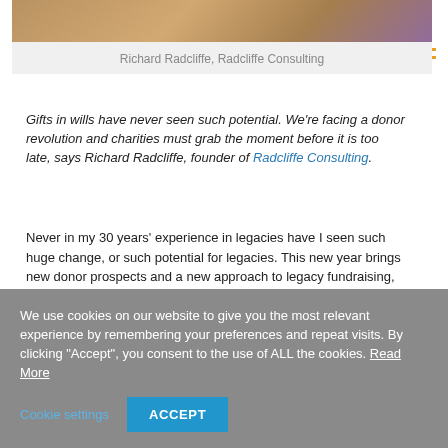[Figure (photo): Partial photo of Richard Radcliffe, showing person from shoulders up, cropped at top]
Richard Radcliffe, Radcliffe Consulting
Gifts in wills have never seen such potential. We're facing a donor revolution and charities must grab the moment before it is too late, says Richard Radcliffe, founder of Radcliffe Consulting.
Never in my 30 years' experience in legacies have I seen such huge change, or such potential for legacies. This new year brings new donor prospects and a new approach to legacy fundraising, for their decision-making journey is so different to past generations.
We use cookies on our website to give you the most relevant experience by remembering your preferences and repeat visits. By clicking "Accept", you consent to the use of ALL the cookies. Read More
Cookie settings  ACCEPT